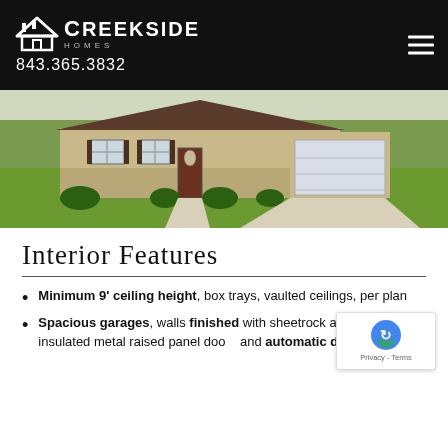Creekside Homes | 843.365.3832
[Figure (photo): Exterior photo of a single-story beige house with brown shutters, white garage door, and green lawn with concrete driveway]
Interior Features
Minimum 9' ceiling height, box trays, vaulted ceilings, per plan
Spacious garages, walls finished with sheetrock and painted, insulated metal raised panel doors and automatic door opener